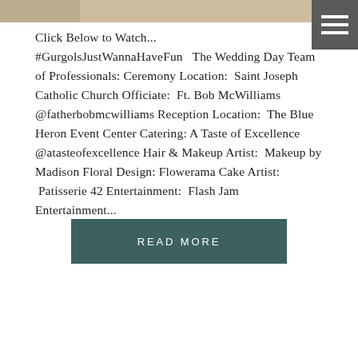[Figure (photo): Top strip of a wedding photo showing a couple, partially cropped]
Click Below to Watch... #GurgolsJustWannaHaveFun  The Wedding Day Team of Professionals: Ceremony Location: Saint Joseph Catholic Church Officiate: Ft. Bob McWilliams @fatherbobmcwilliams Reception Location: The Blue Heron Event Center Catering: A Taste of Excellence @atasteofexcellence Hair & Makeup Artist: Makeup by Madison Floral Design: Flowerama Cake Artist: Patisserie 42 Entertainment: Flash Jam Entertainment...